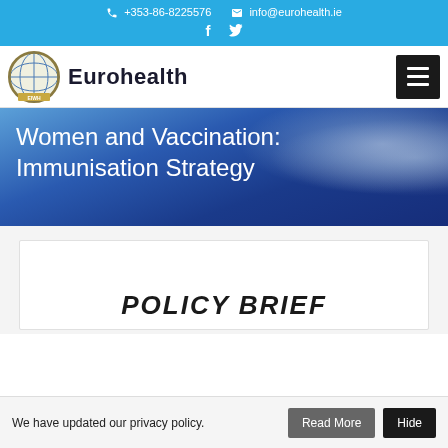+353-86-8225576  info@eurohealth.ie  f  (twitter)
[Figure (logo): Eurohealth logo with globe icon and text 'Eurohealth']
[Figure (screenshot): Hero banner with sky/cloud background and title 'Women and Vaccination: Immunisation Strategy' in white text on dark blue overlay]
Women and Vaccination: Immunisation Strategy
POLICY BRIEF
We have updated our privacy policy.  Read More  Hide